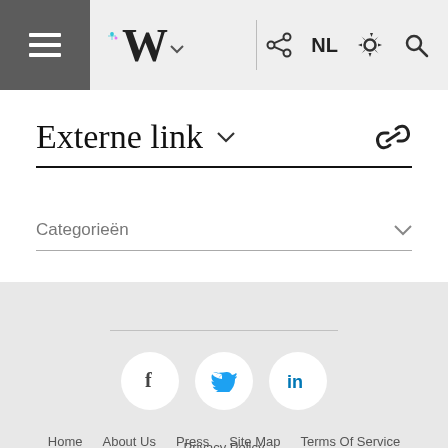Wikipedia mobile navigation bar with hamburger menu, logo W, NL language, settings, and search icons
Externe link
Categorieën
Home  About Us  Press  Site Map  Terms Of Service  Privacy Policy